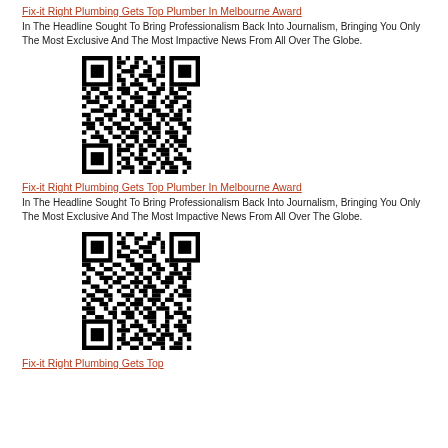Fix-it Right Plumbing Gets Top Plumber In Melbourne Award
In The Headline Sought To Bring Professionalism Back Into Journalism, Bringing You Only The Most Exclusive And The Most Impactive News From All Over The Globe.
[Figure (other): QR code image linking to Fix-it Right Plumbing article]
Fix-it Right Plumbing Gets Top Plumber In Melbourne Award
In The Headline Sought To Bring Professionalism Back Into Journalism, Bringing You Only The Most Exclusive And The Most Impactive News From All Over The Globe.
[Figure (other): QR code image linking to Fix-it Right Plumbing article]
Fix-it Right Plumbing Gets Top